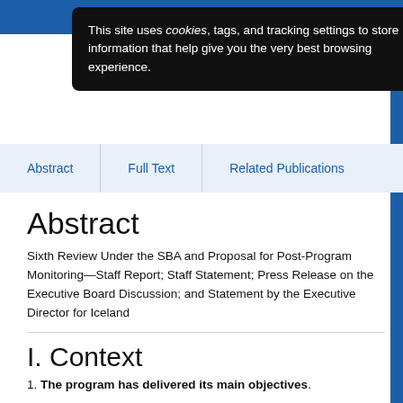[Figure (screenshot): Cookie consent popup overlay on a website with dark background reading: This site uses cookies, tags, and tracking settings to store information that help give you the very best browsing experience.]
Abstract   Full Text   Related Publications
Abstract
Sixth Review Under the SBA and Proposal for Post-Program Monitoring—Staff Report; Staff Statement; Press Release on the Executive Board Discussion; and Statement by the Executive Director for Iceland
I. Context
1. The program has delivered its main objectives.
The exchange rate has stabilized. After a sharp depreciation at the onset of the crisis, the krona